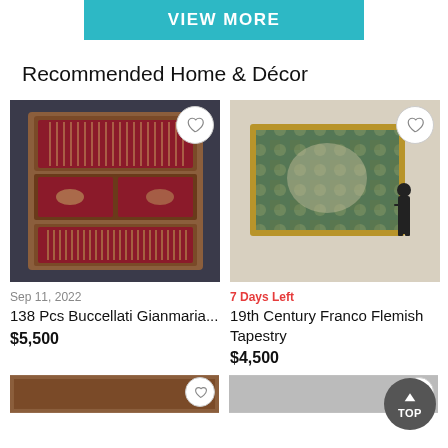[Figure (screenshot): Teal/cyan 'VIEW MORE' button]
Recommended Home & Décor
[Figure (photo): 138 Pcs Buccellati Gianmaria silverware set in wooden display case]
[Figure (photo): 19th Century Franco Flemish Tapestry with size-comparison silhouette of a person]
Sep 11, 2022
7 Days Left
138 Pcs Buccellati Gianmaria...
19th Century Franco Flemish Tapestry
$5,500
$4,500